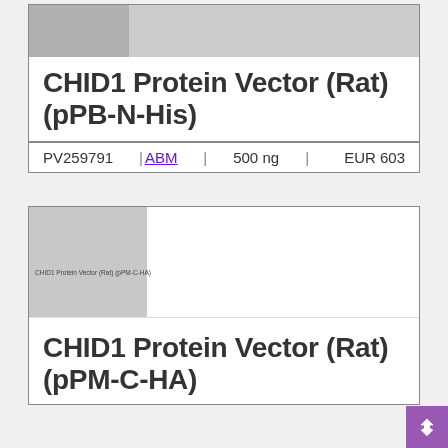CHID1 Protein Vector (Rat) (pPB-N-His)
| PV259791 | ABM | 500 ng | EUR 603 |
| --- | --- | --- | --- |
[Figure (photo): Product thumbnail image placeholder for CHID1 Protein Vector (Rat) (pPB-N-His)]
[Figure (photo): Product thumbnail image placeholder for CHID1 Protein Vector (Rat) (pPM-C-HA), with label text: CHID1 Protein Vector (Rat) (pPM-C-HA)]
CHID1 Protein Vector (Rat) (pPM-C-HA)